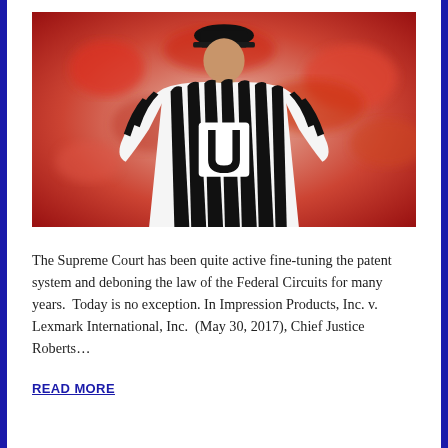[Figure (photo): Photograph of a football referee seen from behind, wearing a black-and-white striped shirt with a large white 'U' on the back, and a black cap, with a blurred red crowd in the background.]
The Supreme Court has been quite active fine-tuning the patent system and deboning the law of the Federal Circuits for many years.  Today is no exception. In Impression Products, Inc. v. Lexmark International, Inc.  (May 30, 2017), Chief Justice Roberts...
READ MORE